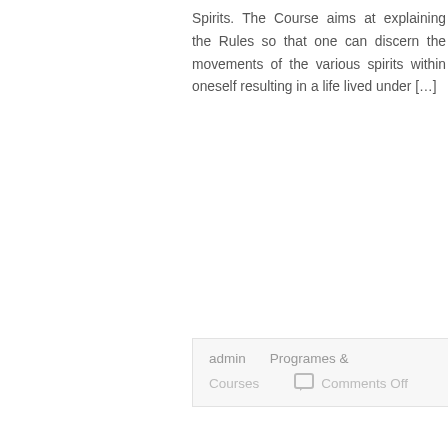Spirits. The Course aims at explaining the Rules so that one can discern the movements of the various spirits within oneself resulting in a life lived under […]
Continue Reading...
admin    Programes & Courses    Comments Off
21. RENEWAL PROGRAM FOR SISTERS
Fr. Mathew Chemplany, SJ and Team Dates: 5 pm November 10 to 5 pm December 20 This Program is meant for